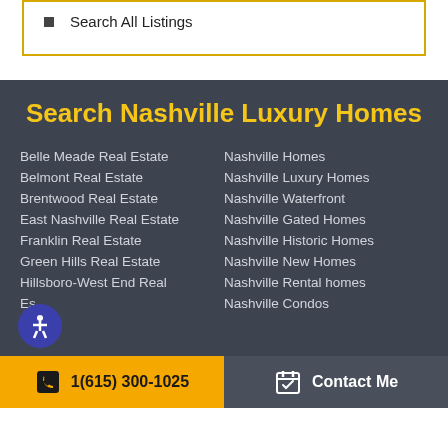Search All Listings
Search Nashville Luxury Homes
Belle Meade Real Estate
Nashville Homes
Belmont Real Estate
Nashville Luxury Homes
Brentwood Real Estate
Nashville Waterfront
East Nashville Real Estate
Nashville Gated Homes
Franklin Real Estate
Nashville Historic Homes
Green Hills Real Estate
Nashville New Homes
Hillsboro-West End Real Estate
Nashville Rental homes
Nashville Condos
1(615) 300-1025   Contact Me